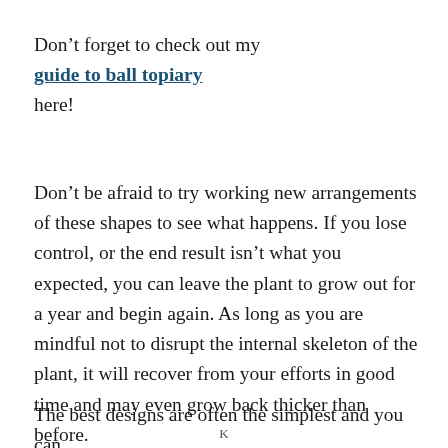Don't forget to check out my guide to ball topiary here!
Don't be afraid to try working new arrangements of these shapes to see what happens. If you lose control, or the end result isn't what you expected, you can leave the plant to grow out for a year and begin again. As long as you are mindful not to disrupt the internal skeleton of the plant, it will recover from your efforts in good time and may even grow back thicker than before.
The best designs are often the simplest and you can